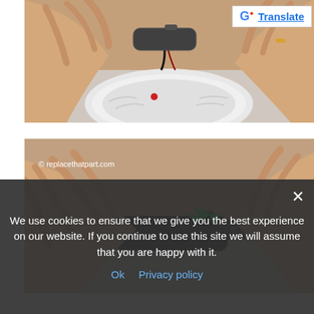[Figure (photo): Close-up of hands inserting or handling a battery in a white circular smoke detector device with a red indicator light]
[Figure (photo): Close-up of hands connecting battery wires/terminals, with a green arrow pointing to the connection point. Watermark reads: © replacethatpart.com]
We use cookies to ensure that we give you the best experience on our website. If you continue to use this site we will assume that you are happy with it.
Ok   Privacy policy